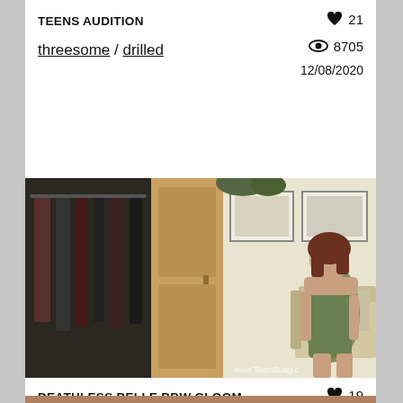TEENS AUDITION
♥ 21
👁 8705
12/08/2020
threesome / drilled
[Figure (photo): Woman in a floral/blue dress standing in a living room with a sofa, closet, and framed pictures on the wall. Watermark: www.TeamBusty.c]
DEATHLESS BELLE BBW GLOOM PET
♥ 19
👁 7564
12/08/2020
homemade / solo
[Figure (photo): Partially visible image at the bottom of the page]